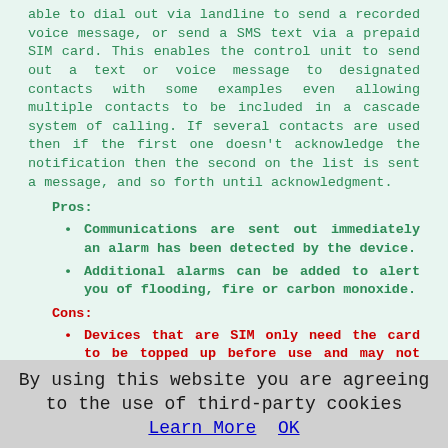able to dial out via landline to send a recorded voice message, or send a SMS text via a prepaid SIM card. This enables the control unit to send out a text or voice message to designated contacts with some examples even allowing multiple contacts to be included in a cascade system of calling. If several contacts are used then if the first one doesn't acknowledge the notification then the second on the list is sent a message, and so forth until acknowledgment.
Pros:
Communications are sent out immediately an alarm has been detected by the device.
Additional alarms can be added to alert you of flooding, fire or carbon monoxide.
Cons:
Devices that are SIM only need the card to be topped up before use and may not work in a location with a weak signal.
You could be unavailable or in a weak signal area when the voice message or text is transmitted.
By using this website you are agreeing to the use of third-party cookies Learn More  OK